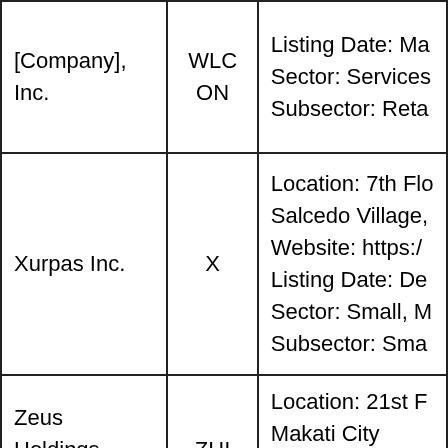| Company | Symbol | Details |
| --- | --- | --- |
| [Company], Inc. | WLCON | Listing Date: Ma...
Sector: Services...
Subsector: Reta... |
| Xurpas Inc. | X | Location: 7th Flo...
Salcedo Village,...
Website: https:/...
Listing Date: De...
Sector: Small, M...
Subsector: Sma... |
| Zeus Holdings, Inc. | ZHI | Location: 21st F...
Makati City
Website: https:/...
Listing Date: Jul... |